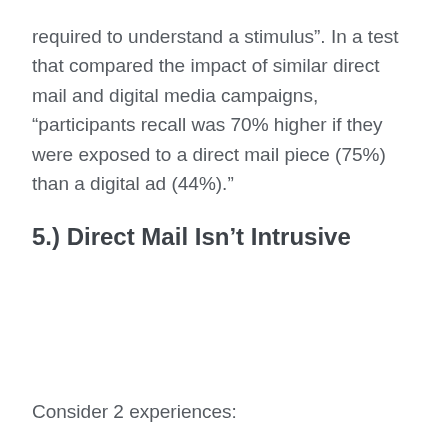required to understand a stimulus”. In a test that compared the impact of similar direct mail and digital media campaigns, “participants recall was 70% higher if they were exposed to a direct mail piece (75%) than a digital ad (44%).”
5.) Direct Mail Isn’t Intrusive
Consider 2 experiences: